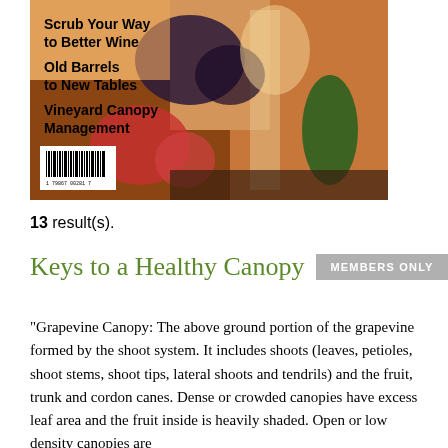[Figure (photo): Magazine cover showing wine glasses, berries, fruits and vegetables with text: Scrub Your Way to Better Wine, Old Barrels to New Tables, Vineyard Canopy Management, with a barcode in the lower left corner.]
13 result(s).
Keys to a Healthy Canopy    MEMBERS ONLY
“Grapevine Canopy: The above ground portion of the grapevine formed by the shoot system. It includes shoots (leaves, petioles, shoot stems, shoot tips, lateral shoots and tendrils) and the fruit, trunk and cordon canes. Dense or crowded canopies have excess leaf area and the fruit inside is heavily shaded. Open or low density canopies are